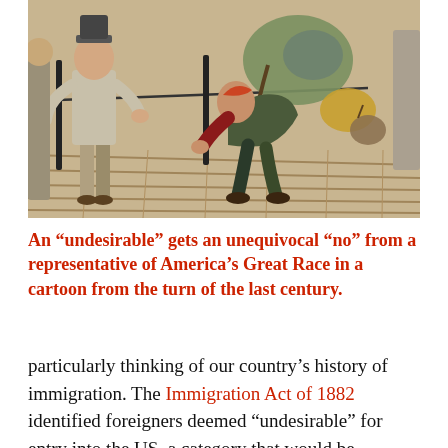[Figure (illustration): A colored illustration/cartoon from the turn of the last century showing an immigrant figure hunched over with luggage and bags, being turned away. A representative figure stands upright facing them on a wooden dock or platform.]
An “undesirable” gets an unequivocal “no” from a representative of America’s Great Race in a cartoon from the turn of the last century.
particularly thinking of our country’s history of immigration. The Immigration Act of 1882 identified foreigners deemed “undesirable” for entry into the US, a category that would be broadened in succeeding years to keep out